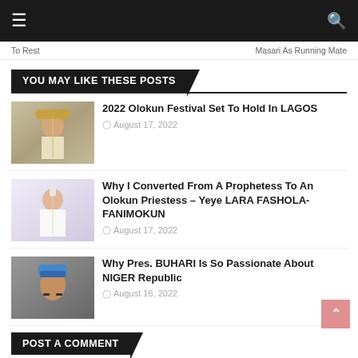Navigation bar with hamburger menu and search icon
To Rest    Masari As Running Mate
YOU MAY LIKE THESE POSTS
[Figure (photo): Woman in traditional/ceremonial attire with crown and candle]
2022 Olokun Festival Set To Hold In LAGOS
August 17, 2022
[Figure (photo): Woman in white outfit with candle — Yeye Lara Fashola-Fanimokun]
Why I Converted From A Prophetess To An Olokun Priestess – Yeye LARA FASHOLA-FANIMOKUN
August 17, 2022
[Figure (photo): Man wearing blue cap and glasses — President Buhari]
Why Pres. BUHARI Is So Passionate About NIGER Republic
August 16, 2022
POST A COMMENT